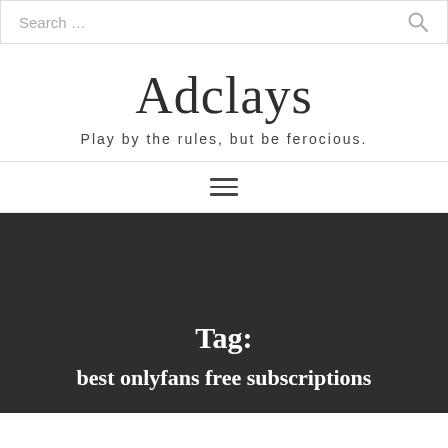Search ...
Adclays
Play by the rules, but be ferocious.
[Figure (other): Hamburger menu icon (three horizontal lines)]
Tag: best onlyfans free subscriptions